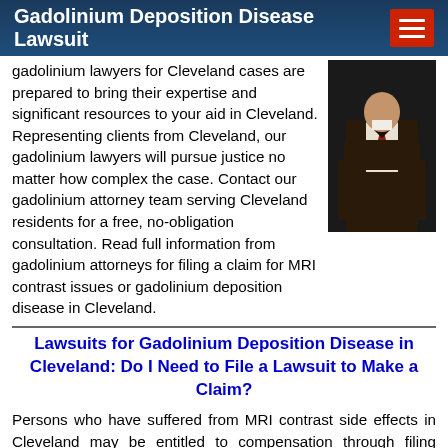Gadolinium Deposition Disease Lawsuit
gadolinium lawyers for Cleveland cases are prepared to bring their expertise and significant resources to your aid in Cleveland. Representing clients from Cleveland, our gadolinium lawyers will pursue justice no matter how complex the case. Contact our gadolinium attorney team serving Cleveland residents for a free, no-obligation consultation. Read full information from gadolinium attorneys for filing a claim for MRI contrast issues or gadolinium deposition disease in Cleveland.
[Figure (photo): Photo of a man in a dark suit, partial view]
Lawsuits for Gadolinium Deposition Disease in Cleveland: Do I Need to File a Lawsuit to Make a Claim?
Persons who have suffered from MRI contrast side effects in Cleveland may be entitled to compensation through filing gadolinium lawsuits against the manufacturers. When Chuck Negotiator filed a lawsuit in 2017...